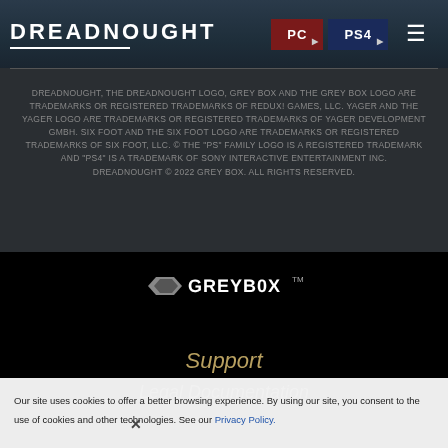DREADNOUGHT | PC | PS4
DREADNOUGHT, THE DREADNOUGHT LOGO, GREY BOX AND THE GREY BOX LOGO ARE TRADEMARKS OR REGISTERED TRADEMARKS OF REDUX! GAMES, LLC. YAGER AND THE YAGER LOGO ARE TRADEMARKS OR REGISTERED TRADEMARKS OF YAGER DEVELOPMENT GMBH. SIX FOOT AND THE SIX FOOT LOGO ARE TRADEMARKS OR REGISTERED TRADEMARKS OF SIX FOOT, LLC. © THE "PS" FAMILY LOGO IS A REGISTERED TRADEMARK AND "PS4" IS A TRADEMARK OF SONY INTERACTIVE ENTERTAINMENT INC. DREADNOUGHT © 2022 GREY BOX. ALL RIGHTS RESERVED.
[Figure (logo): GREYBOX logo in grey and white text with diamond shape]
Support
Legal Documentation
Our site uses cookies to offer a better browsing experience. By using our site, you consent to the use of cookies and other technologies. See our Privacy Policy.